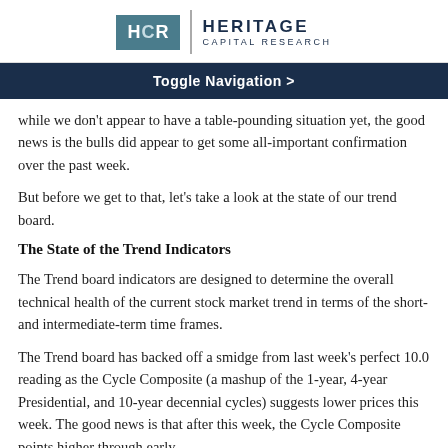HCR | HERITAGE CAPITAL RESEARCH
Toggle Navigation >
While we don't appear to have a table-pounding situation yet, the good news is the bulls did appear to get some all-important confirmation over the past week.
But before we get to that, let's take a look at the state of our trend board.
The State of the Trend Indicators
The Trend board indicators are designed to determine the overall technical health of the current stock market trend in terms of the short- and intermediate-term time frames.
The Trend board has backed off a smidge from last week's perfect 10.0 reading as the Cycle Composite (a mashup of the 1-year, 4-year Presidential, and 10-year decennial cycles) suggests lower prices this week. The good news is that after this week, the Cycle Composite points higher through early